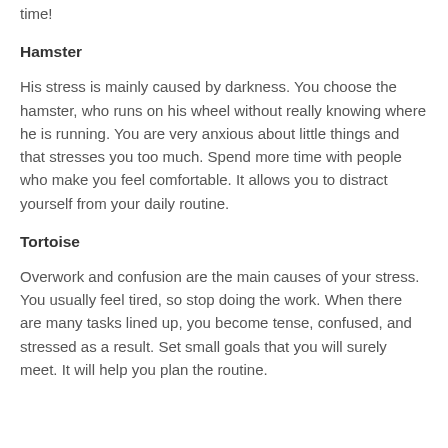time!
Hamster
His stress is mainly caused by darkness. You choose the hamster, who runs on his wheel without really knowing where he is running. You are very anxious about little things and that stresses you too much. Spend more time with people who make you feel comfortable. It allows you to distract yourself from your daily routine.
Tortoise
Overwork and confusion are the main causes of your stress. You usually feel tired, so stop doing the work. When there are many tasks lined up, you become tense, confused, and stressed as a result. Set small goals that you will surely meet. It will help you plan the routine.